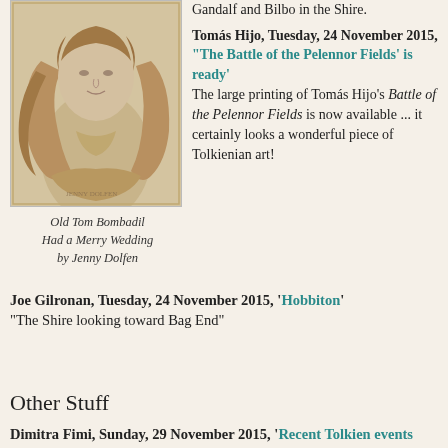[Figure (illustration): Sketch illustration of a woman with flowing hair, in brown/sepia tones, from Jenny Dolfen's 'Old Tom Bombadil Had a Merry Wedding']
Old Tom Bombadil Had a Merry Wedding by Jenny Dolfen
Gandalf and Bilbo in the Shire.
Tomás Hijo, Tuesday, 24 November 2015, “The Battle of the Pelennor Fields’ is ready’ The large printing of Tomás Hijo’s Battle of the Pelennor Fields is now available ... it certainly looks a wonderful piece of Tolkienian art!
Joe Gilronan, Tuesday, 24 November 2015, ‘Hobbiton’ “The Shire looking toward Bag End”
Other Stuff
Dimitra Fimi, Sunday, 29 November 2015, ‘Recent Tolkien events and publications – Autumn 2015’ This post by Dimitra Fimi is so crammed full of all kinds of good stuff that I couldn’t decide where to put it, and therefore it has ended up here. The post summarises Fimi’s own recent activities as well as the more significant events in